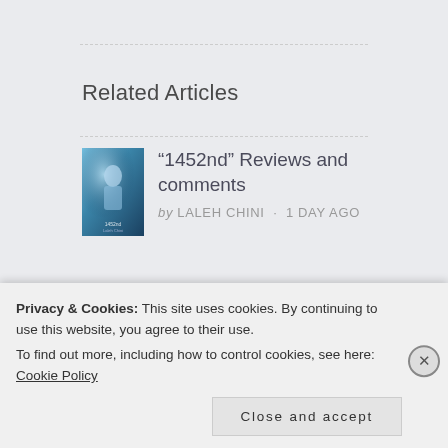Related Articles
[Figure (illustration): Thumbnail image for article about 1452nd reviews, blue water/figure cover art]
“1452nd” Reviews and comments
by LALEH CHINI · 1 DAY AGO
Privacy & Cookies: This site uses cookies. By continuing to use this website, you agree to their use.
To find out more, including how to control cookies, see here: Cookie Policy
Close and accept